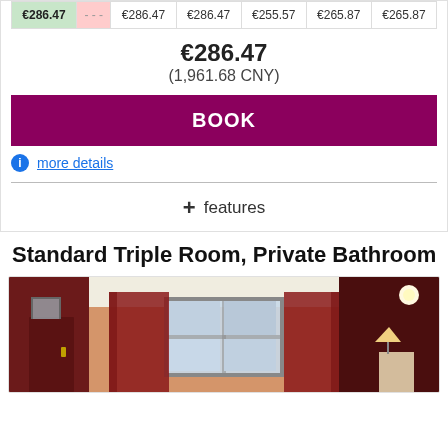|  |  |  |  |  |  |  |
| --- | --- | --- | --- | --- | --- | --- |
| €286.47 | - - - | €286.47 | €286.47 | €255.57 | €265.87 | €265.87 |
€286.47
(1,961.68 CNY)
BOOK
more details
+ features
Standard Triple Room, Private Bathroom
[Figure (photo): Hotel room interior with orange/dark red walls, window with dark red curtains, and a lamp. The room shows a triple room with private bathroom setting.]